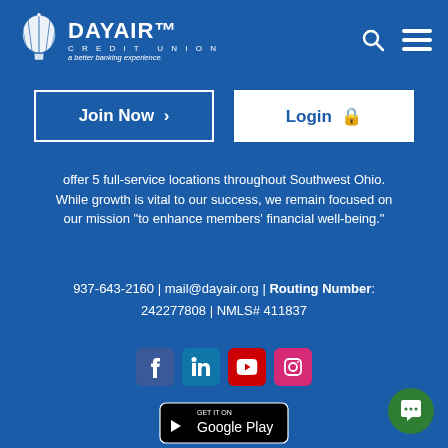[Figure (logo): Day Air Credit Union logo with hot air balloon icon and tagline 'a better banking experience.']
[Figure (other): Navigation icons: search (magnifying glass) and hamburger menu]
Join Now >
Login 🔒
offer 5 full-service locations throughout Southwest Ohio. While growth is vital to our success, we remain focused on our mission "to enhance members' financial well-being."
937-643-2160 | mail@dayair.org | Routing Number: 242277808 | NMLS# 411837
[Figure (other): Social media icons: Facebook, LinkedIn, YouTube, Instagram]
[Figure (other): Google Play store badge]
[Figure (other): Green chat button in bottom right corner]